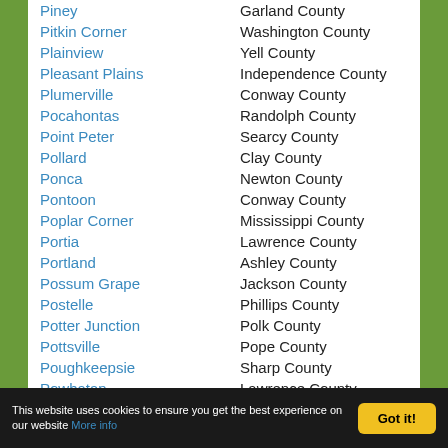Piney — Garland County
Pitkin Corner — Washington County
Plainview — Yell County
Pleasant Plains — Independence County
Plumerville — Conway County
Pocahontas — Randolph County
Point Peter — Searcy County
Pollard — Clay County
Ponca — Newton County
Pontoon — Conway County
Poplar Corner — Mississippi County
Portia — Lawrence County
Portland — Ashley County
Possum Grape — Jackson County
Postelle — Phillips County
Potter Junction — Polk County
Pottsville — Pope County
Poughkeepsie — Sharp County
Powhatan — Lawrence County
Poyen — Grant County
Prairie Grove — Prairie County (partial)
Cookie notice: This website uses cookies to ensure you get the best experience on our website. More info. Got it!